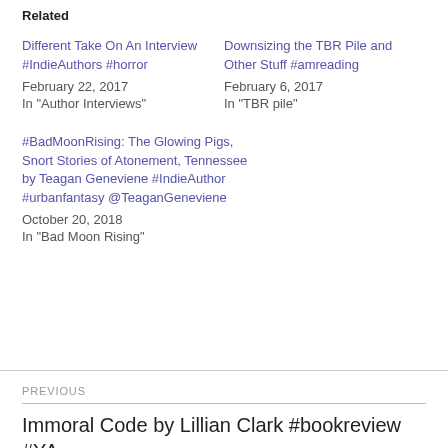Related
Different Take On An Interview #IndieAuthors #horror
February 22, 2017
In "Author Interviews"
Downsizing the TBR Pile and Other Stuff #amreading
February 6, 2017
In "TBR pile"
#BadMoonRising: The Glowing Pigs, Snort Stories of Atonement, Tennessee by Teagan Geneviene #IndieAuthor #urbanfantasy @TeaganGeneviene
October 20, 2018
In "Bad Moon Rising"
PREVIOUS
Immoral Code by Lillian Clark #bookreview #YA